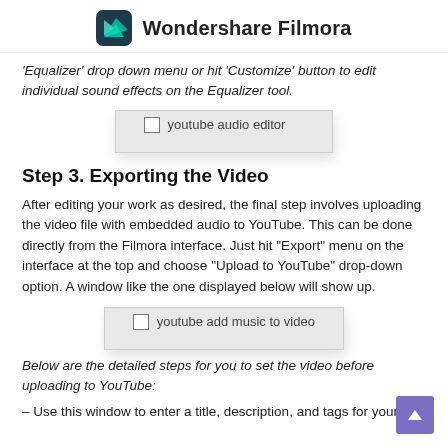Wondershare Filmora
'Equalizer' drop down menu or hit 'Customize' button to edit individual sound effects on the Equalizer tool.
[Figure (screenshot): youtube audio editor placeholder image]
Step 3. Exporting the Video
After editing your work as desired, the final step involves uploading the video file with embedded audio to YouTube. This can be done directly from the Filmora interface. Just hit "Export" menu on the interface at the top and choose "Upload to YouTube" drop-down option. A window like the one displayed below will show up.
[Figure (screenshot): youtube add music to video placeholder image]
Below are the detailed steps for you to set the video before uploading to YouTube:
– Use this window to enter a title, description, and tags for your